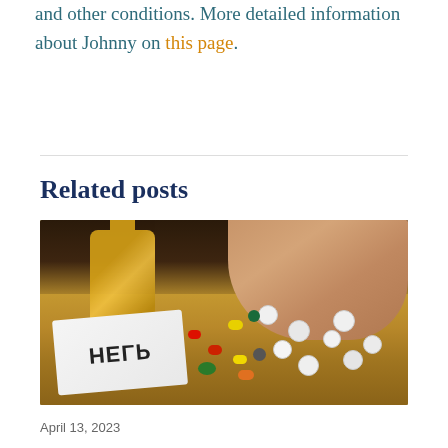and other conditions. More detailed information about Johnny on this page.
Related posts
[Figure (photo): Photo of a hand holding a bottle with colorful pills and tablets scattered on a wooden surface, and a crumpled paper with 'HELP' written on it (shown mirrored/upside-down).]
April 13, 2023